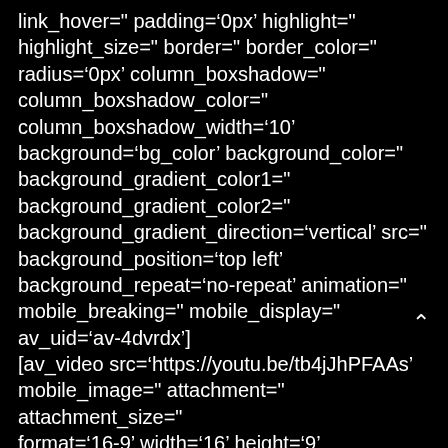link_hover=" padding='0px' highlight=" highlight_size=" border=" border_color=" radius='0px' column_boxshadow=" column_boxshadow_color=" column_boxshadow_width='10' background='bg_color' background_color=" background_gradient_color1=" background_gradient_color2=" background_gradient_direction='vertical' src=" background_position='top left' background_repeat='no-repeat' animation=" mobile_breaking=" mobile_display=" av_uid='av-4dvrdx'] [av_video src='https://youtu.be/tb4jJhPFAAs' mobile_image=" attachment=" attachment_size=" format='16-9' width='16' height='9' conditional_play=" av_uid='av-jvnlk7yu'] [av_one_third]